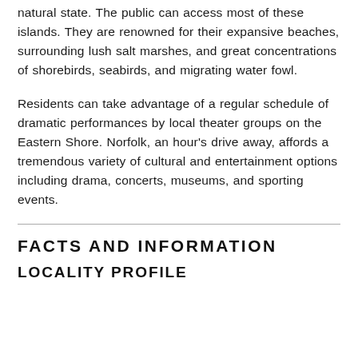natural state. The public can access most of these islands. They are renowned for their expansive beaches, surrounding lush salt marshes, and great concentrations of shorebirds, seabirds, and migrating water fowl.
Residents can take advantage of a regular schedule of dramatic performances by local theater groups on the Eastern Shore. Norfolk, an hour's drive away, affords a tremendous variety of cultural and entertainment options including drama, concerts, museums, and sporting events.
FACTS AND INFORMATION
LOCALITY PROFILE